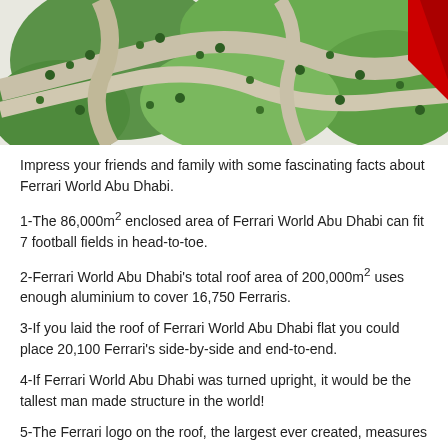[Figure (photo): Aerial view of green park/gardens with winding paths, trees, and a red corner element visible at top right]
Impress your friends and family with some fascinating facts about Ferrari World Abu Dhabi.
1-The 86,000m² enclosed area of Ferrari World Abu Dhabi can fit 7 football fields in head-to-toe.
2-Ferrari World Abu Dhabi's total roof area of 200,000m² uses enough aluminium to cover 16,750 Ferraris.
3-If you laid the roof of Ferrari World Abu Dhabi flat you could place 20,100 Ferrari's side-by-side and end-to-end.
4-If Ferrari World Abu Dhabi was turned upright, it would be the tallest man made structure in the world!
5-The Ferrari logo on the roof, the largest ever created, measures